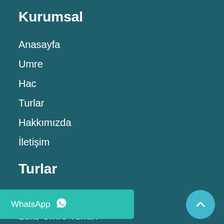Kurumsal
Anasayfa
Umre
Hac
Turlar
Hakkımızda
İletişim
Turlar
Ekonomik Umre Turları
Lüks Umre Turları
Kültür Turları